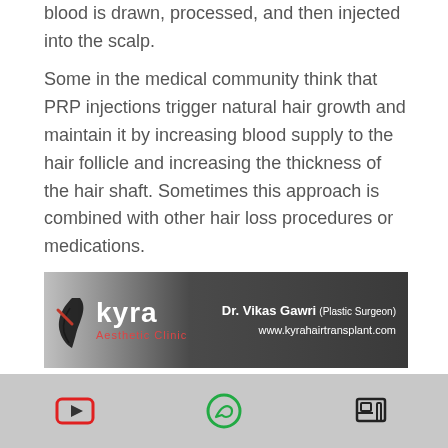blood is drawn, processed, and then injected into the scalp.
Some in the medical community think that PRP injections trigger natural hair growth and maintain it by increasing blood supply to the hair follicle and increasing the thickness of the hair shaft. Sometimes this approach is combined with other hair loss procedures or medications.
[Figure (logo): Kyra Aesthetic Clinic banner with logo on gradient background. Text: Dr. Vikas Gawri (Plastic Surgeon), www.kyrahairtransplant.com]
Why
REPEATED PRP
[Figure (other): Top badge hexagon shape with 'Top' text]
YouTube icon, WhatsApp icon, media gallery icon